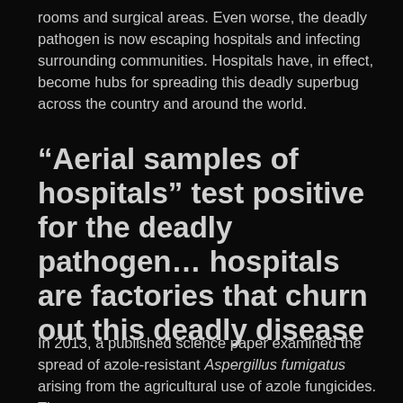rooms and surgical areas. Even worse, the deadly pathogen is now escaping hospitals and infecting surrounding communities. Hospitals have, in effect, become hubs for spreading this deadly superbug across the country and around the world.
“Aerial samples of hospitals” test positive for the deadly pathogen… hospitals are factories that churn out this deadly disease
In 2013, a published science paper examined the spread of azole-resistant Aspergillus fumigatus arising from the agricultural use of azole fungicides. The paper was...